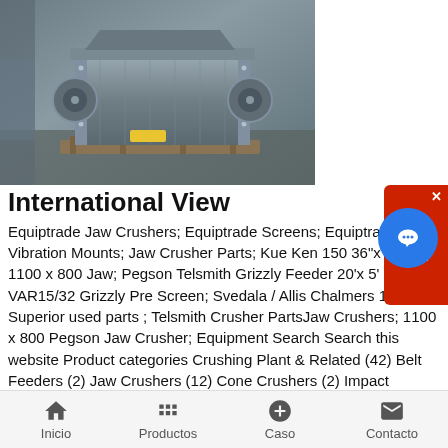[Figure (photo): Industrial jaw crusher machine, large grey metal equipment sitting on a pallet on a concrete floor, photographed outdoors]
International View
Equiptrade Jaw Crushers; Equiptrade Screens; Equiptrade Vibration Mounts; Jaw Crusher Parts; Kue Ken 150 36"x 48" Mo; 1100 x 800 Jaw; Pegson Telsmith Grizzly Feeder 20'x 5' VAR15/32 Grizzly Pre Screen; Svedala / Allis Chalmers 16/50 Superior used parts ; Telsmith Crusher PartsJaw Crushers; 1100 x 800 Pegson Jaw Crusher; Equipment Search Search this website Product categories Crushing Plant & Related (42) Belt Feeders (2) Jaw Crushers (12) Cone Crushers (2) Impact Crushers (3) Screens, Conveyors, Feeders, Hoppers,Telsmith 10 x 21 Jaw Crusher, Jaw CrusherJaw Crushers; Hadfields 36 x 26 Jaw Crusher; Marsay Equipment specialises in the buying, refurbishment and selling of good, used Jaw Crushers Complete the Enquiry Form below to
Inicio   Productos   Caso   Contacto